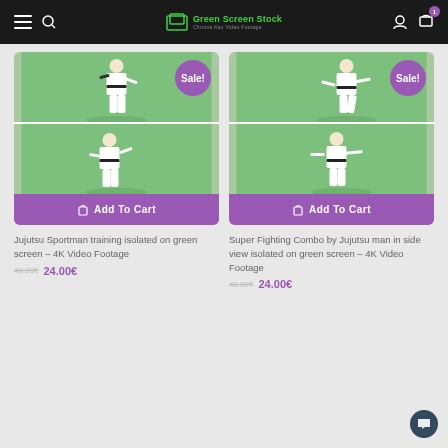Green Screen Stock – Chroma Key Video Footage
[Figure (screenshot): Product card 1: Two stacked video thumbnails of a man in white karate gi on green screen background, with purple 'Sale!' badge, purple 'Add To Cart' button]
Jujutsu Sportman training isolated on green screen – 4K Video Footage
24.00€
[Figure (screenshot): Product card 2: Two stacked video thumbnails of a man in white karate gi in side view on green screen background, with purple 'Sale!' badge, purple 'Add To Cart' button]
Super Fighting Combo by Jujutsu man in side view isolated on green screen – 4K Video Footage
24.00€